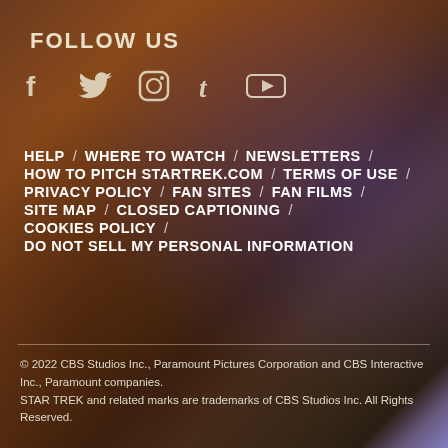FOLLOW US
[Figure (illustration): Social media icons: Facebook, Twitter, Instagram, Tumblr, YouTube]
HELP / WHERE TO WATCH / NEWSLETTERS /
HOW TO PITCH STARTREK.COM / TERMS OF USE /
PRIVACY POLICY / FAN SITES / FAN FILMS /
SITE MAP / CLOSED CAPTIONING /
COOKIES POLICY /
DO NOT SELL MY PERSONAL INFORMATION
© 2022 CBS Studios Inc., Paramount Pictures Corporation and CBS Interactive Inc., Paramount companies. STAR TREK and related marks are trademarks of CBS Studios Inc. All Rights Reserved.